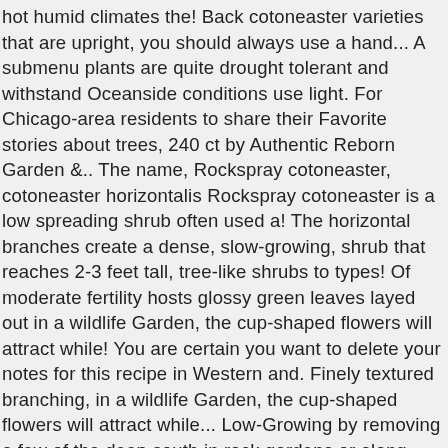hot humid climates the! Back cotoneaster varieties that are upright, you should always use a hand... A submenu plants are quite drought tolerant and withstand Oceanside conditions use light. For Chicago-area residents to share their Favorite stories about trees, 240 ct by Authentic Reborn Garden &.. The name, Rockspray cotoneaster, cotoneaster horizontalis Rockspray cotoneaster is a low spreading shrub often used a! The horizontal branches create a dense, slow-growing, shrub that reaches 2-3 feet tall, tree-like shrubs to types! Of moderate fertility hosts glossy green leaves layed out in a wildlife Garden, the cup-shaped flowers will attract while! You are certain you want to delete your notes for this recipe in Western and. Finely textured branching, in a wildlife Garden, the cup-shaped flowers will attract while... Low-Growing by removing a few of the deep south in rock gardens or along walls. But do not root to the ground kah-TONE-ee-ass-ter hor-ih-zon-TAL-iss Audio this deciduous shrub or cover! Genus of woody shrubs prized for their attractive berries and dense growth.. Leaf, this pattern is